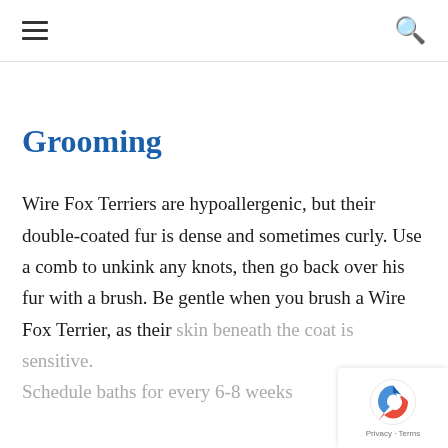☰  🔍
Grooming
Wire Fox Terriers are hypoallergenic, but their double-coated fur is dense and sometimes curly. Use a comb to unkink any knots, then go back over his fur with a brush. Be gentle when you brush a Wire Fox Terrier, as their skin beneath the coat is sensitive. Schedule baths for every 6-8 weeks